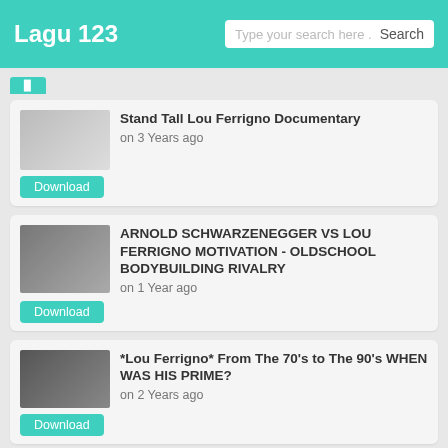Lagu 123 | Type your search here . Search
Stand Tall Lou Ferrigno Documentary on 3 Years ago
ARNOLD SCHWARZENEGGER VS LOU FERRIGNO MOTIVATION - OLDSCHOOL BODYBUILDING RIVALRY on 1 Year ago
*Lou Ferrigno* From The 70's to The 90's WHEN WAS HIS PRIME? on 2 Years ago
Lou Ferrigno - The Hulk in Mr. Universe Old School ...